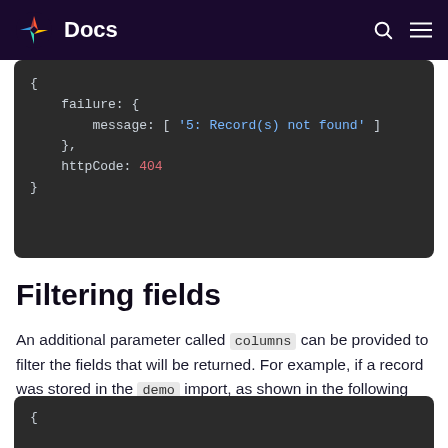Docs
{
    failure: {
        message: [ '5: Record(s) not found' ]
    },
    httpCode: 404
}
Filtering fields
An additional parameter called columns can be provided to filter the fields that will be returned. For example, if a record was stored in the demo import, as shown in the following example:
{